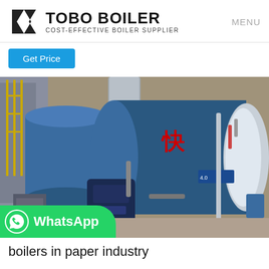TOBO BOILER — COST-EFFECTIVE BOILER SUPPLIER | MENU
Get Price
[Figure (photo): Industrial boiler equipment in a factory setting showing blue horizontal fire-tube steam boilers with burner assemblies and piping, with Chinese characters visible on the boiler body.]
WhatsApp
boilers in paper industry